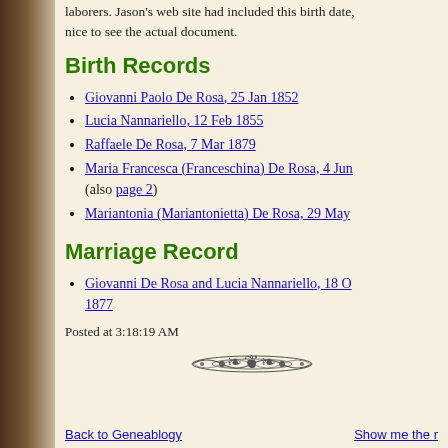laborers. Jason's web site had included this birth date, nice to see the actual document.
Birth Records
Giovanni Paolo De Rosa, 25 Jan 1852
Lucia Nannariello, 12 Feb 1855
Raffaele De Rosa, 7 Mar 1879
Maria Francesca (Franceschina) De Rosa, 4 Jun (also page 2)
Mariantonia (Mariantonietta) De Rosa, 29 May
Marriage Record
Giovanni De Rosa and Lucia Nannariello, 18 O 1877
Posted at 3:18:19 AM
[Figure (illustration): Decorative floral/ornamental divider]
Back to Geneablogy    Show me the r